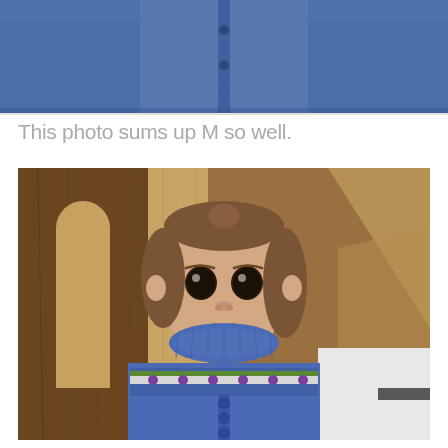[Figure (photo): Partial view of a person in a blue knit cardigan sweater, cropped showing chest and arms]
This photo sums up M so well.
[Figure (photo): A toddler with brown hair looking upward with large dark eyes and a slight smile, wearing a blue knit cardigan with a colorful Fair Isle yoke pattern in green, white, and purple, standing in front of wooden furniture panels]